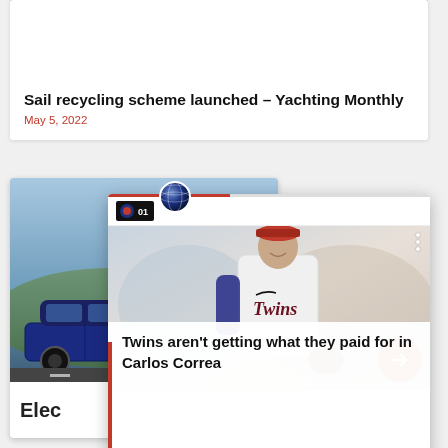[Figure (photo): Sailing yacht on water with white sails]
Sail recycling scheme launched – Yachting Monthly
May 5, 2022
[Figure (screenshot): News app screenshot showing a Minnesota Twins baseball player (Carlos Correa) in white uniform, with headline 'Twins aren't getting what they paid for in Carlos Correa', with app UI elements including progress bar, logo icon, three-dot menu, and red arrow navigation button. A blue electric car card partially visible behind.]